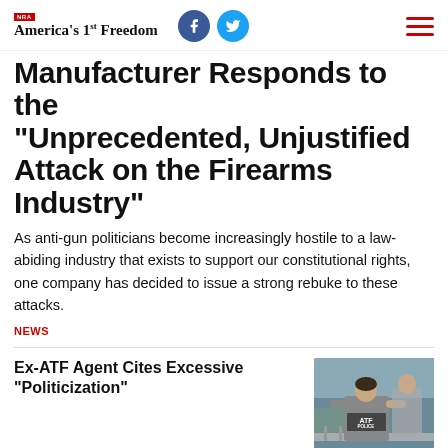NRA America's 1st Freedom
Manufacturer Responds to the “Unprecedented, Unjustified Attack on the Firearms Industry”
As anti-gun politicians become increasingly hostile to a law-abiding industry that exists to support our constitutional rights, one company has decided to issue a strong rebuke to these attacks.
NEWS
Ex-ATF Agent Cites Excessive “Politicization”
[Figure (photo): An ATF Police officer seen from behind wearing a gray shirt with ATF POLICE printed on the back, standing outdoors near barriers.]
5 Things You Might Not Know...